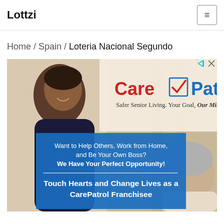Lottzi
Home / Spain / Loteria Nacional Segundo
[Figure (photo): CarePatrol advertisement banner. Shows a caregiver and elderly person. Text reads: 'Care Patrol - Safer Senior Living. Your Goal, Our Mission. Want to Help Others, Work from Home, and Be Your Own Boss? We Have Your Perfect Opportunity! Touch Hearts and Change Lives as a CarePatrol Franchisee']